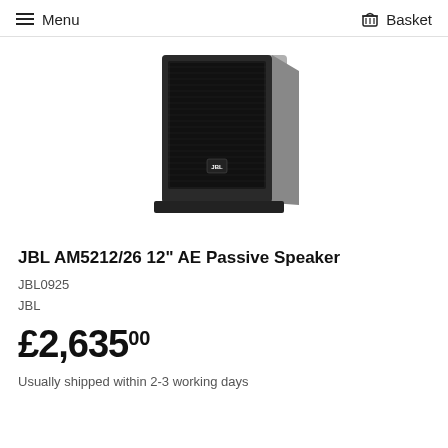Menu  Basket
[Figure (photo): JBL AM5212/26 12-inch AE Passive Speaker product photo — a black rectangular loudspeaker cabinet with metal mesh grille on a dark base, JBL logo on the grille, photographed on white background at a slight angle.]
JBL AM5212/26 12" AE Passive Speaker
JBL0925
JBL
£2,63500
Usually shipped within 2-3 working days